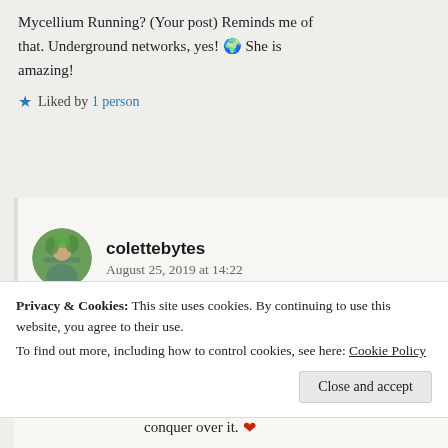Mycellium Running? (Your post) Reminds me of that. Underground networks, yes! 🌍 She is amazing!
★ Liked by 1 person
colettebytes
August 25, 2019 at 14:22
Privacy & Cookies: This site uses cookies. By continuing to use this website, you agree to their use.
To find out more, including how to control cookies, see here: Cookie Policy
Close and accept
conquer over it. ❤